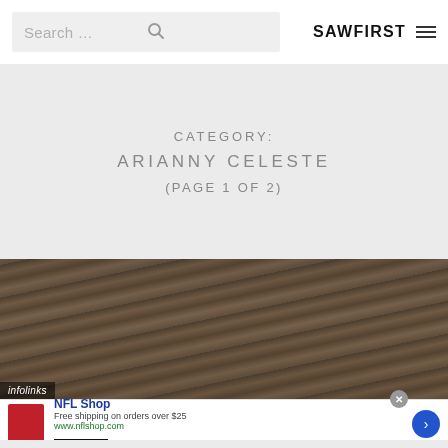Search ... | SAWFIRST
CATEGORY:
ARIANNY CELESTE
(PAGE 1 OF 2)
[Figure (photo): Rustic wooden ceiling/barn interior with infolinks badge overlay and NFL Shop advertisement at bottom]
infolinks
NFL Shop
Free shipping on orders over $25
www.nflshop.com
SHOP NOW